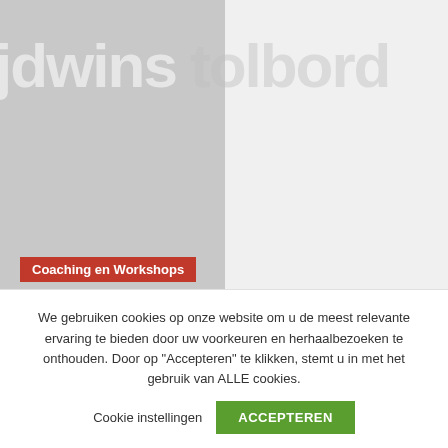[Figure (screenshot): Website header with overlapping watermark text 'jdwinstolbord' on grey background]
Coaching en Workshops
Als u een cursus time management wilt doen, waar moet u zich dan melden?
6 maanden ago  Redactie
We gebruiken cookies op onze website om u de meest relevante ervaring te bieden door uw voorkeuren en herhaalbezoeken te onthouden. Door op "Accepteren" te klikken, stemt u in met het gebruik van ALLE cookies.
Cookie instellingen   ACCEPTEREN